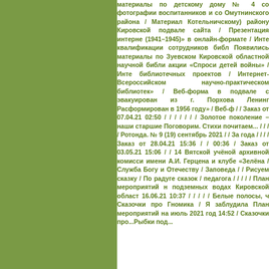[Figure (other): Olive/khaki green colored left panel background]
материалы по детскому дому № 4 со фотографии воспитанников и со Омутнинского района / Материал Котельничскому) району Кировской подвале сайта / Презентация интерне (1941–1945)» в онлайн-формате / Инт квалификации сотрудников библ Появились материалы по Зуевском Кировской областной научной библи акции «Спроси детей войны» / Инте библиотечных проектов / Интернет- Всероссийском научно-практическом библиотек» / Веб-форма в подвале с эвакуирован из г. Порхова Ленинг Расформирован в 1956 году» / Веб-ф / / Заказ от 07.04.21 02:50 / / / / / / / Золотое поколение – наши старшие Поговорим. Стихи почитаем... / / / / Ротонда. № 9 (19) сентябрь 2021 / / За года / / / / Заказ от 28.04.21 15:36 / / 00:36 / Заказ от 03.05.21 15:06 / / 14 Вятской учёной архивной комисси имени А.И. Герцена и клубе «Зелёна / Служба Богу и Отечеству / Заповеда / / Рисуем сказку / По радуге сказок / педагога / / / / / План мероприятий н подземных водах Кировской област 16.06.21 10:37 / / / / / Белые полосы, ч Сказочки про Гномика / Я заблудила План мероприятий на июль 2021 год 14:52 / Сказочки про...Рыбки под...